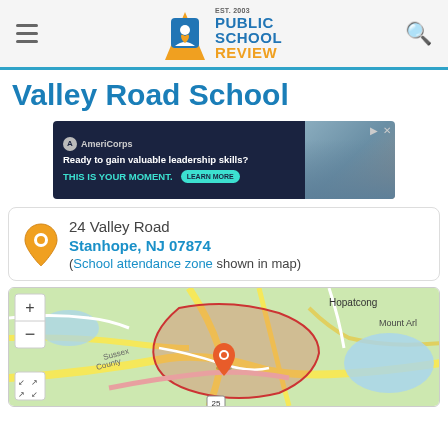Public School Review
Valley Road School
[Figure (other): AmeriCorps advertisement banner: 'Ready to gain valuable leadership skills? THIS IS YOUR MOMENT. LEARN MORE']
24 Valley Road
Stanhope, NJ 07874
(School attendance zone shown in map)
[Figure (map): Interactive map showing Valley Road School location in Stanhope, NJ area with school attendance zone highlighted in red/pink. Shows surrounding area including Hopatcong and Mount Arlington. Map has zoom controls (+/-) and fullscreen button.]